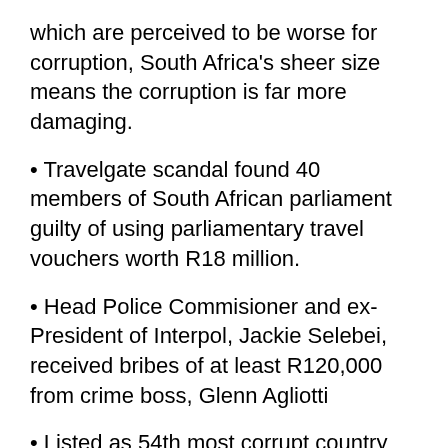which are perceived to be worse for corruption, South Africa's sheer size means the corruption is far more damaging.
• Travelgate scandal found 40 members of South African parliament guilty of using parliamentary travel vouchers worth R18 million.
• Head Police Commisioner and ex-President of Interpol, Jackie Selebei, received bribes of at least R120,000 from crime boss, Glenn Agliotti
• Listed as 54th most corrupt country out of